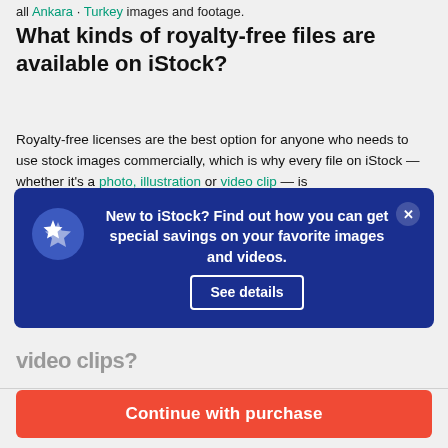all Ankara · Turkey images and footage.
What kinds of royalty-free files are available on iStock?
Royalty-free licenses are the best option for anyone who needs to use stock images commercially, which is why every file on iStock — whether it's a photo, illustration or video clip — is
[Figure (screenshot): Dark blue popup banner: 'New to iStock? Find out how you can get special savings on your favorite images and videos.' with a 'See details' button and a close (x) button. Includes a star icon on left.]
video clips?
$12 | 1 credit
Continue with purchase